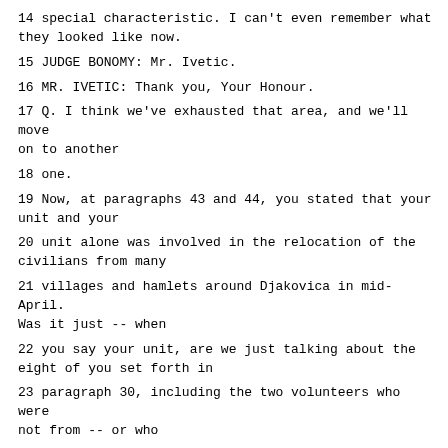14 special characteristic. I can't even remember what they looked like now.
15 JUDGE BONOMY: Mr. Ivetic.
16 MR. IVETIC: Thank you, Your Honour.
17 Q. I think we've exhausted that area, and we'll move on to another
18 one.
19 Now, at paragraphs 43 and 44, you stated that your unit and your
20 unit alone was involved in the relocation of the civilians from many
21 villages and hamlets around Djakovica in mid-April. Was it just -- when
22 you say your unit, are we just talking about the eight of you set forth in
23 paragraph 30, including the two volunteers who were not from -- or who
24 were from another country -- from another ethnicity.
25 A. Yes.